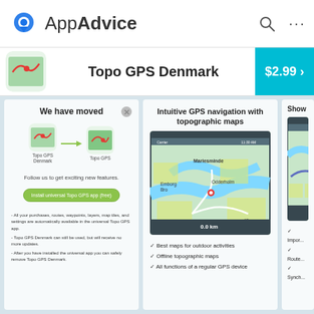AppAdvice
Topo GPS Denmark
$2.99 >
We have moved
Follow us to get exciting new features.
Install universal Topo GPS app (free)
- All your purchases, routes, waypoints, layers, map tiles, and settings are automatically available in the universal Topo GPS app.
- Topo GPS Denmark can still be used, but will receive no more updates.
- After you have installed the universal app you can safely remove Topo GPS Denmark.
Intuitive GPS navigation with topographic maps
[Figure (screenshot): Screenshot of Topo GPS app showing a topographic map of Denmark with locations Mariesminde, Emborg Bro, Odderholm visible]
✓ Best maps for outdoor activities
✓ Offline topographic maps
✓ All functions of a regular GPS device
Show
✓ Impor...
✓ Route...
✓ Synch...